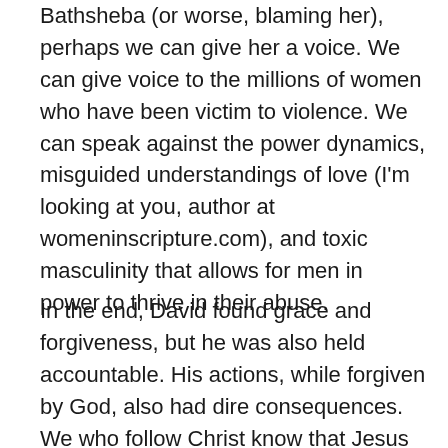Bathsheba (or worse, blaming her), perhaps we can give her a voice. We can give voice to the millions of women who have been victim to violence. We can speak against the power dynamics, misguided understandings of love (I'm looking at you, author at womeninscripture.com), and toxic masculinity that allows for men in power to thrive in their abuse.
In the end, David found grace and forgiveness, but he was also held accountable. His actions, while forgiven by God, also had dire consequences. We who follow Christ know that Jesus came from David's line. David's earthly kingdom split quickly and disintegrated in time. Jesus' Kingdom, unlike David's, is not built on violence. It is built on the dignity of all people. It is built on love and compassion. It is built upon the things that first helped David rise to power – faith, hope, and a good shepherd's